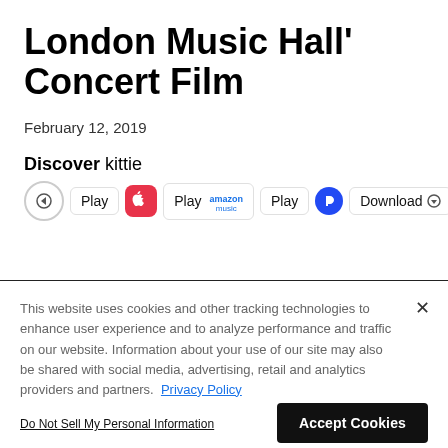London Music Hall' Concert Film
February 12, 2019
Discover kittie
[Figure (other): Music streaming service buttons row: back arrow, Play (Apple Music), Play (Amazon Music), Play (Pandora), Download with forward arrow]
This website uses cookies and other tracking technologies to enhance user experience and to analyze performance and traffic on our website. Information about your use of our site may also be shared with social media, advertising, retail and analytics providers and partners. Privacy Policy
Do Not Sell My Personal Information
Accept Cookies